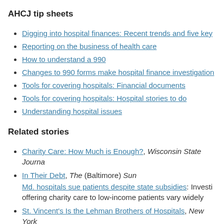AHCJ tip sheets
Digging into hospital finances: Recent trends and five key
Reporting on the business of health care
How to understand a 990
Changes to 990 forms make hospital finance investigation
Tools for covering hospitals: Financial documents
Tools for covering hospitals: Hospital stories to do
Understanding hospital issues
Related stories
Charity Care: How Much is Enough?, Wisconsin State Journa
In Their Debt, The (Baltimore) Sun Md. hospitals sue patients despite state subsidies: Investi offering charity care to low-income patients vary widely
St. Vincent's Is the Lehman Brothers of Hospitals, New York
Hospitals, Inc.: Rising Costs, Growing Clout, Kaiser Health N